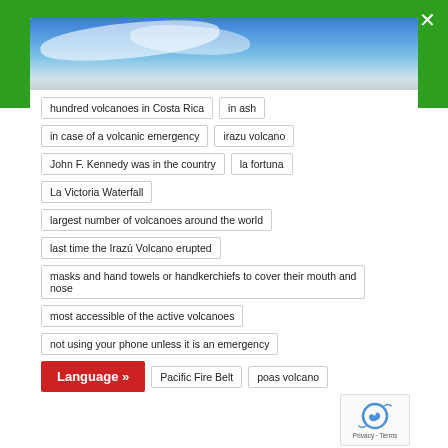[Figure (photo): Sky with clouds banner image at top of a web widget]
hundred volcanoes in Costa Rica
in ash
in case of a volcanic emergency
irazu volcano
John F. Kennedy was in the country
la fortuna
La Victoria Waterfall
largest number of volcanoes around the world
last time the Irazú Volcano erupted
masks and hand towels or handkerchiefs to cover their mouth and nose
most accessible of the active volcanoes
not using your phone unless it is an emergency
Language »
Pacific Fire Belt
poas volcano